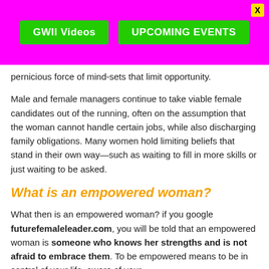GWII Videos | UPCOMING EVENTS
pernicious force of mind-sets that limit opportunity.
Male and female managers continue to take viable female candidates out of the running, often on the assumption that the woman cannot handle certain jobs, while also discharging family obligations. Many women hold limiting beliefs that stand in their own way—such as waiting to fill in more skills or just waiting to be asked.
What is an empowered woman?
What then is an empowered woman? if you google futurefemaleleader.com, you will be told that an empowered woman is someone who knows her strengths and is not afraid to embrace them. To be empowered means to be in control of your life, aware of your